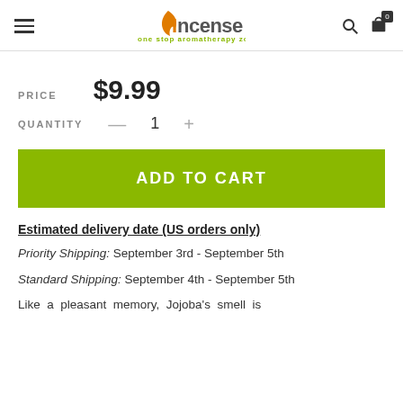Incense Pro - one stop aromatherapy zone
PRICE  $9.99
QUANTITY  — 1 +
ADD TO CART
Estimated delivery date (US orders only)
Priority Shipping: September 3rd - September 5th
Standard Shipping: September 4th - September 5th
Like a pleasant memory, Jojoba's smell is